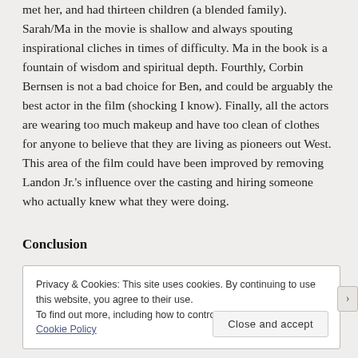met her, and had thirteen children (a blended family). Sarah/Ma in the movie is shallow and always spouting inspirational cliches in times of difficulty. Ma in the book is a fountain of wisdom and spiritual depth. Fourthly, Corbin Bernsen is not a bad choice for Ben, and could be arguably the best actor in the film (shocking I know). Finally, all the actors are wearing too much makeup and have too clean of clothes for anyone to believe that they are living as pioneers out West. This area of the film could have been improved by removing Landon Jr.'s influence over the casting and hiring someone who actually knew what they were doing.
Conclusion
Privacy & Cookies: This site uses cookies. By continuing to use this website, you agree to their use.
To find out more, including how to control cookies, see here: Cookie Policy